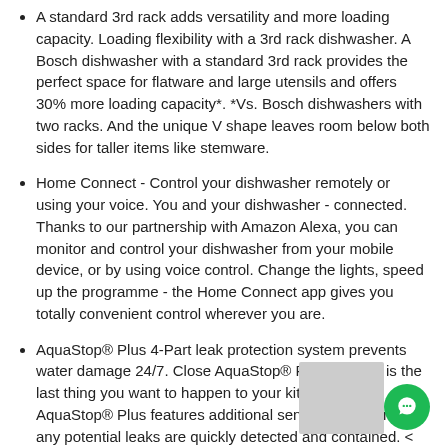A standard 3rd rack adds versatility and more loading capacity. Loading flexibility with a 3rd rack dishwasher. A Bosch dishwasher with a standard 3rd rack provides the perfect space for flatware and large utensils and offers 30% more loading capacity*. *Vs. Bosch dishwashers with two racks. And the unique V shape leaves room below both sides for taller items like stemware.
Home Connect - Control your dishwasher remotely or using your voice. You and your dishwasher - connected. Thanks to our partnership with Amazon Alexa, you can monitor and control your dishwasher from your mobile device, or by using voice control. Change the lights, speed up the programme - the Home Connect app gives you totally convenient control wherever you are.
AquaStop® Plus 4-Part leak protection system prevents water damage 24/7. Close AquaStop® Plus > A leak is the last thing you want to happen to your kitchen oors. AquaStop® Plus features additional sensors to ensure that any potential leaks are quickly detected and contained. <
RackMatic® offers 3 height levels, for 9 possible